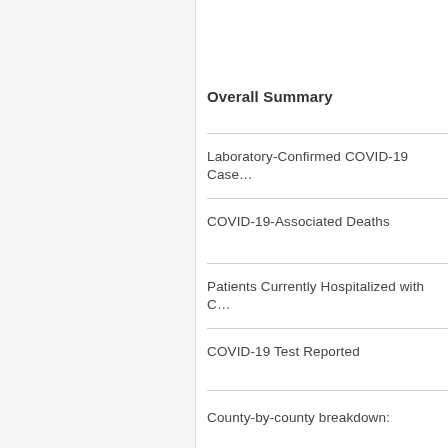Overall Summary
Laboratory-Confirmed COVID-19 Cases
COVID-19-Associated Deaths
Patients Currently Hospitalized with COVID-19
COVID-19 Test Reported
County-by-county breakdown: